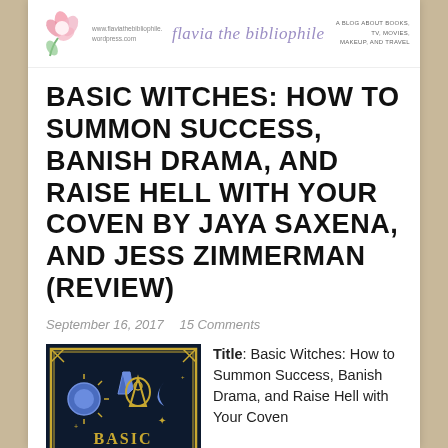www.flaviathebibliophile.wordpress.com | flavia the bibliophile | A BLOG ABOUT BOOKS, TV, MOVIES, MAKEUP, AND TRAVEL
BASIC WITCHES: HOW TO SUMMON SUCCESS, BANISH DRAMA, AND RAISE HELL WITH YOUR COVEN BY JAYA SAXENA, AND JESS ZIMMERMAN (REVIEW)
September 16, 2017   15 Comments
[Figure (photo): Book cover of Basic Witches — dark navy/black background with gold and blue illustrated mystical symbols including a sun, crystals, ouija planchette, moon, and scissors arranged in a decorative border with the title 'BASIC WITCHES' in large gold serif letters]
Title: Basic Witches: How to Summon Success, Banish Drama, and Raise Hell with Your Coven